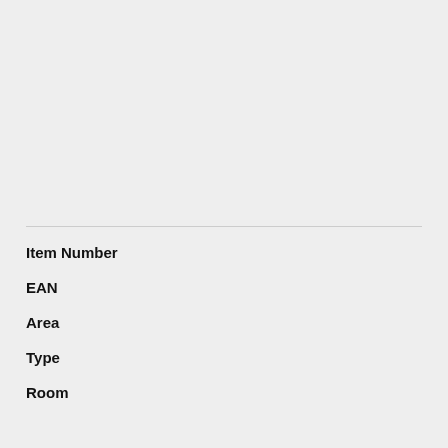Item Number
EAN
Area
Type
Room